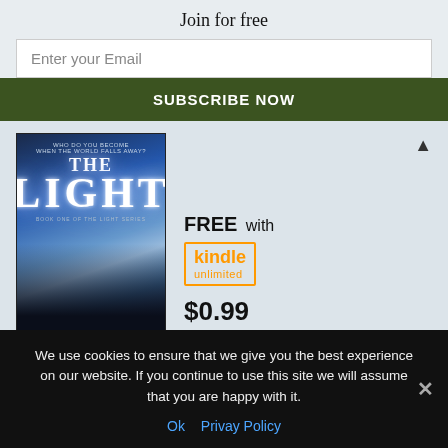Join for free
Enter your Email
SUBSCRIBE NOW
[Figure (illustration): Book cover for 'The Light' - Book One of The Light Series, showing two silhouetted figures walking toward a bright light in a snowy forest with text 'Who do you become when the world falls away?']
FREE with kindle unlimited
$0.99
Save $2.00
We use cookies to ensure that we give you the best experience on our website. If you continue to use this site we will assume that you are happy with it.
Ok   Privay Policy